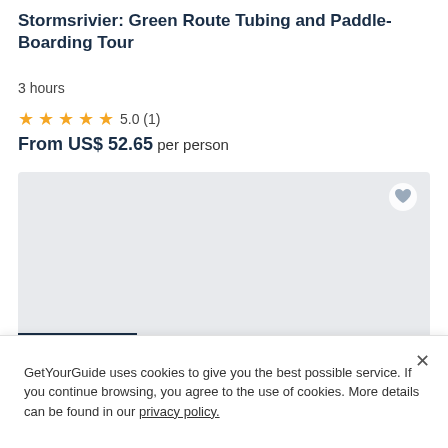Stormsrivier: Green Route Tubing and Paddle-Boarding Tour
3 hours
★★★★★ 5.0 (1)
From US$ 52.65 per person
[Figure (photo): Gray placeholder image card with heart icon and WATER ACTIVITY badge]
Tsitsikamma National Park: Blackwater Tubing
6 hours
★★★★★ 5.0 (9)
From US$ 73.47 per person
GetYourGuide uses cookies to give you the best possible service. If you continue browsing, you agree to the use of cookies. More details can be found in our privacy policy.